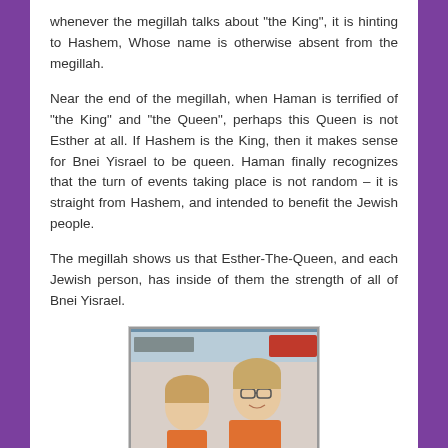whenever the megillah talks about "the King", it is hinting to Hashem, Whose name is otherwise absent from the megillah.
Near the end of the megillah, when Haman is terrified of "the King" and "the Queen", perhaps this Queen is not Esther at all. If Hashem is the King, then it makes sense for Bnei Yisrael to be queen. Haman finally recognizes that the turn of events taking place is not random – it is straight from Hashem, and intended to benefit the Jewish people.
The megillah shows us that Esther-The-Queen, and each Jewish person, has inside of them the strength of all of Bnei Yisrael.
[Figure (photo): Two people, a young girl and a woman wearing glasses and an orange top, smiling together indoors.]